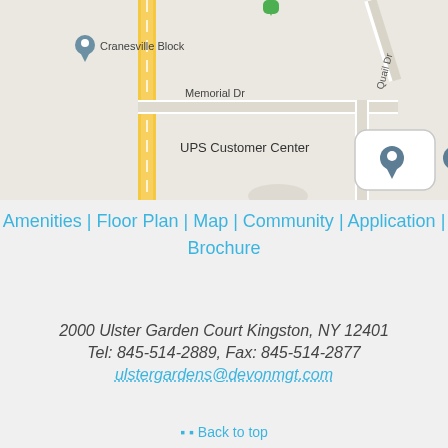[Figure (map): Google Maps screenshot showing area near UPS Customer Center, Cranesville Block, Memorial Dr, and Quail Dr in Kingston NY area. Yellow road runs vertically, location pins shown.]
Amenities | Floor Plan | Map | Community | Application | Brochure
2000 Ulster Garden Court Kingston, NY 12401
Tel: 845-514-2889, Fax: 845-514-2877
ulstergardens@devonmgt.com
Back to top